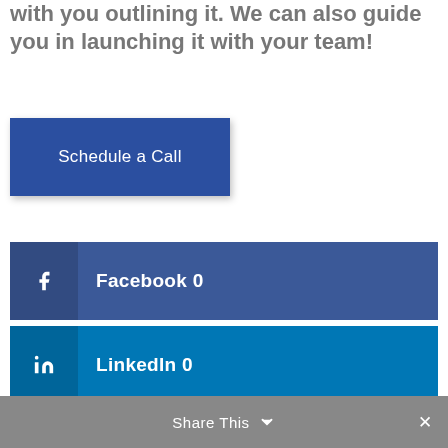with you outlining it. We can also guide you in launching it with your team!
Schedule a Call
Facebook  0
LinkedIn  0
Share This  ∨  ✕